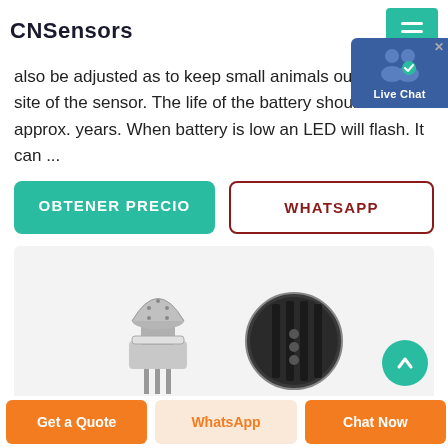CNSensors
also be adjusted as to keep small animals out of the site of the sensor. The life of the battery should last approx. years. When battery is low an LED will flash. It can ...
OBTENER PRECIO
WHATSAPP
[Figure (photo): Two gas sensor components shown side by side on white/light gray background. Left sensor has a silver metallic domed cap with small holes, with three metal pins at the bottom. Right sensor shows the back/base of a similar sensor revealing pin layout.]
[Figure (infographic): Live Chat overlay widget in blue showing two person icons with a checkmark, labeled 'Live Chat']
Get a Quote | WhatsApp | Chat Now